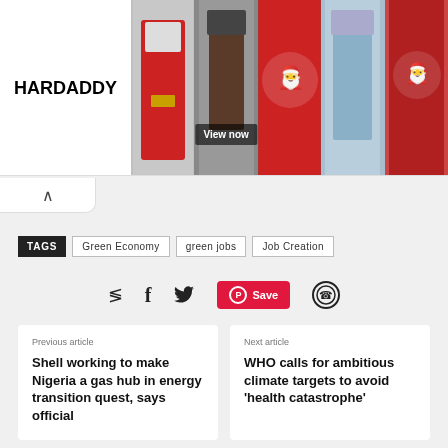[Figure (screenshot): HARDADDY clothing advertisement banner showing multiple hoodies and shirts with a 'View now' button]
TAGS   Green Economy   green jobs   Job Creation
[Figure (infographic): Social share icons: share, Facebook (f), Twitter bird, Pinterest Save button (red), WhatsApp]
Previous article
Shell working to make Nigeria a gas hub in energy transition quest, says official
Next article
WHO calls for ambitious climate targets to avoid ‘health catastrophe’